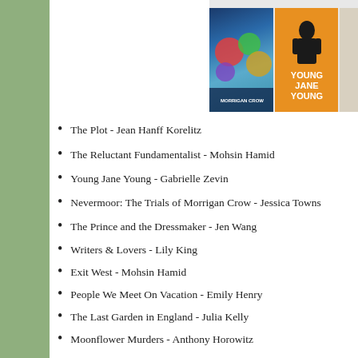[Figure (photo): Book covers partially visible at top right: Nevermoor The Trials of Morrigan Crow (colorful illustrated cover) and Young Jane Young (orange cover with woman in black dress)]
The Plot - Jean Hanff Korelitz
The Reluctant Fundamentalist - Mohsin Hamid
Young Jane Young - Gabrielle Zevin
Nevermoor: The Trials of Morrigan Crow - Jessica Towns
The Prince and the Dressmaker - Jen Wang
Writers & Lovers - Lily King
Exit West - Mohsin Hamid
People We Meet On Vacation - Emily Henry
The Last Garden in England - Julia Kelly
Moonflower Murders - Anthony Horowitz
Long Bright River - Liz Moore
The Janus Stone - Ellly Griffiths
The Midnight Library - Matt Haig
In 2022 I do want to read more fiction, and am seeking out well-grabbing what is new and shiny on the library shelf. I also have a